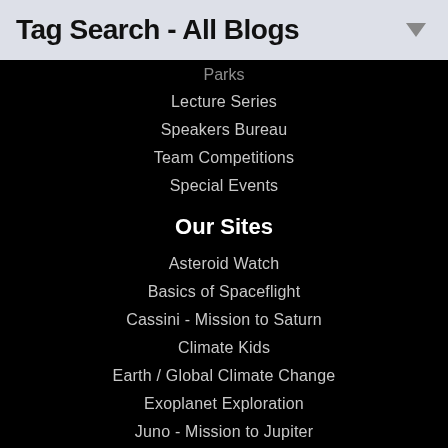Tag Search - All Blogs
Lecture Series
Speakers Bureau
Team Competitions
Special Events
Our Sites
Asteroid Watch
Basics of Spaceflight
Cassini - Mission to Saturn
Climate Kids
Earth / Global Climate Change
Exoplanet Exploration
Juno - Mission to Jupiter
Mars Exploration
Science and Technology
Solar System Exploration
Space Place
NASA's Eyes